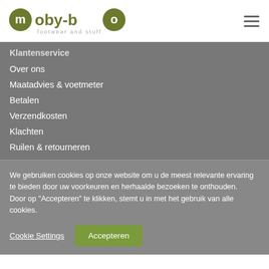[Figure (logo): moby-bo footwear and stuff logo with green circle letters m and o]
Klantenservice
Over ons
Maatadvies & voetmeter
Betalen
Verzendkosten
Klachten
Ruilen & retourneren
We gebruiken cookies op onze website om u de meest relevante ervaring te bieden door uw voorkeuren en herhaalde bezoeken te onthouden.
Door op "Accepteren" te klikken, stemt u in met het gebruik van alle cookies.
Cookie Settings
Accepteren